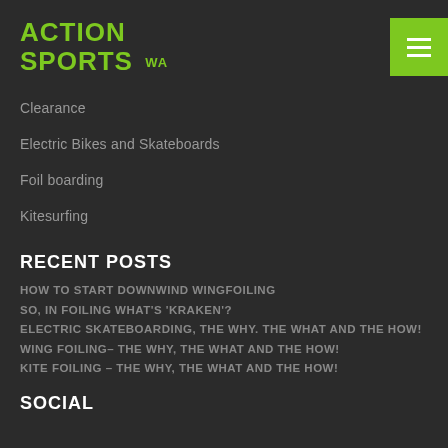ACTION SPORTS WA
Clearance
Electric Bikes and Skateboards
Foil boarding
Kitesurfing
RECENT POSTS
HOW TO START DOWNWIND WINGFOILING
SO, IN FOILING WHAT'S 'KRAKEN'?
ELECTRIC SKATEBOARDING, THE WHY. THE WHAT AND THE HOW!
WING FOILING– THE WHY, THE WHAT AND THE HOW!
KITE FOILING – THE WHY, THE WHAT AND THE HOW!
SOCIAL